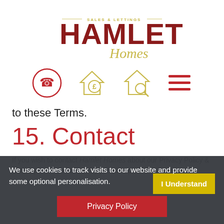[Figure (logo): Hamlet Homes Sales & Lettings logo with dark red HAMLET text and gold italic Homes script]
[Figure (infographic): Four navigation icons: phone in circle (dark red), house with pound sign (gold), house with magnifier (gold), hamburger menu (dark red)]
to these Terms.
15. Contact
If you wish to contact Hamlet Homes about our Privacy Policy & Notice please contact us by post, telephone or in person.
We use cookies to track visits to our website and provide some optional personalisation.
I Understand
Privacy Policy